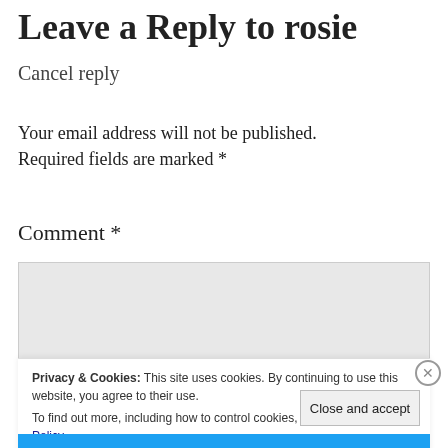Leave a Reply to rosie
Cancel reply
Your email address will not be published. Required fields are marked *
Comment *
[Figure (screenshot): Empty comment text area input box with grey background]
Privacy & Cookies: This site uses cookies. By continuing to use this website, you agree to their use. To find out more, including how to control cookies, see here: Cookie Policy
Close and accept